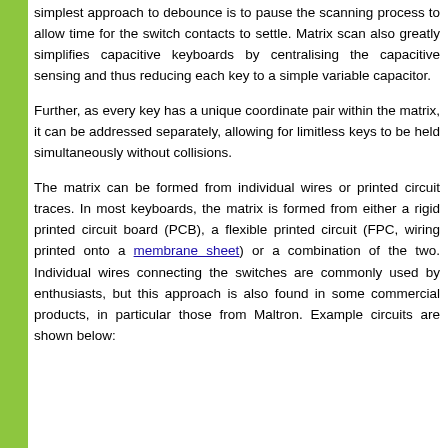simplest approach to debounce is to pause the scanning process to allow time for the switch contacts to settle. Matrix scan also greatly simplifies capacitive keyboards by centralising the capacitive sensing and thus reducing each key to a simple variable capacitor.
Further, as every key has a unique coordinate pair within the matrix, it can be addressed separately, allowing for limitless keys to be held simultaneously without collisions.
The matrix can be formed from individual wires or printed circuit traces. In most keyboards, the matrix is formed from either a rigid printed circuit board (PCB), a flexible printed circuit (FPC, wiring printed onto a membrane sheet) or a combination of the two. Individual wires connecting the switches are commonly used by enthusiasts, but this approach is also found in some commercial products, in particular those from Maltron. Example circuits are shown below: